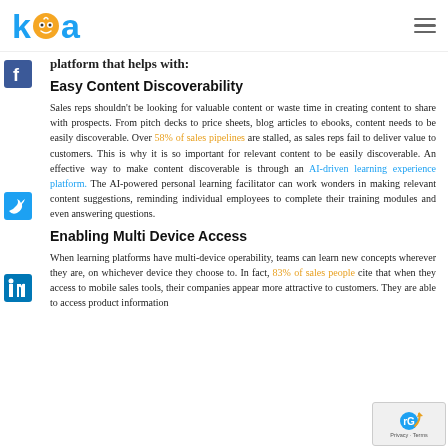kea [logo] [hamburger menu]
platform that helps with:
Easy Content Discoverability
Sales reps shouldn't be looking for valuable content or waste time in creating content to share with prospects. From pitch decks to price sheets, blog articles to ebooks, content needs to be easily discoverable. Over 58% of sales pipelines are stalled, as sales reps fail to deliver value to customers. This is why it is so important for relevant content to be easily discoverable. An effective way to make content discoverable is through an AI-driven learning experience platform. The AI-powered personal learning facilitator can work wonders in making relevant content suggestions, reminding individual employees to complete their training modules and even answering questions.
Enabling Multi Device Access
When learning platforms have multi-device operability, teams can learn new concepts wherever they are, on whichever device they choose to. In fact, 83% of sales people cite that when they access to mobile sales tools, their companies appear more attractive to customers. They are able to access product information